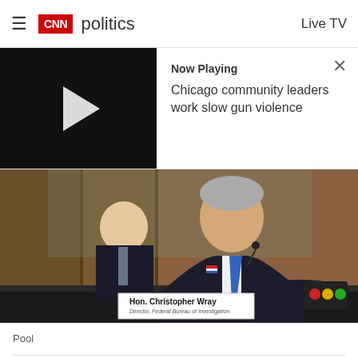CNN politics  Live TV
Now Playing
Chicago community leaders work slow gun violence
[Figure (photo): Hon. Christopher Wray, Director, Federal Bureau of Investigation, speaking at a Senate hearing. A nameplate reading 'Hon. Christopher Wray, Director, Federal Bureau of Investigation' is visible in front of him. A person in a dark suit sits behind him.]
Pool